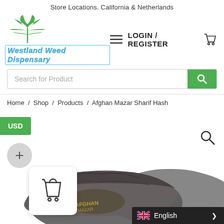Store Locations. California & Netherlands
[Figure (logo): Westland Weed Dispensary logo with cannabis leaf graphic and blue italic text]
LOGIN / REGISTER
Search for Product
Home / Shop / Products / Afghan Mazar Sharif Hash
USD
[Figure (photo): Product photo of Afghan Mazar Sharif Hash — dark brown/grey compressed hash blocks with gold label text]
English